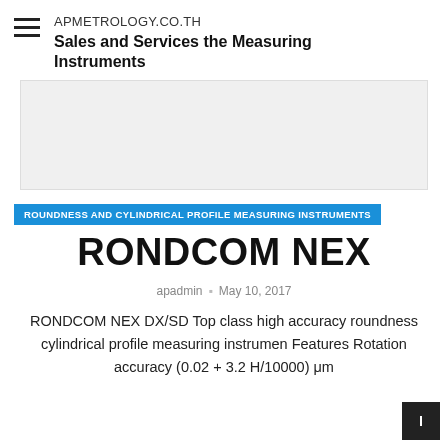APMETROLOGY.CO.TH
Sales and Services the Measuring Instruments
[Figure (other): Gray advertisement banner placeholder]
ROUNDNESS AND CYLINDRICAL PROFILE MEASURING INSTRUMENTS
RONDCOM NEX
apadmin  May 10, 2017
RONDCOM NEX DX/SD Top class high accuracy roundness cylindrical profile measuring instrument Features Rotation accuracy (0.02 + 3.2 H/10000) μm